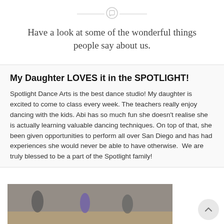[Figure (illustration): Decorative speech bubble icon with horizontal lines on either side, acting as a section divider]
Have a look at some of the wonderful things people say about us.
My Daughter LOVES it in the SPOTLIGHT!
Spotlight Dance Arts is the best dance studio! My daughter is excited to come to class every week. The teachers really enjoy dancing with the kids. Abi has so much fun she doesn't realise she is actually learning valuable dancing techniques. On top of that, she been given opportunities to perform all over San Diego and has had experiences she would never be able to have otherwise.  We are truly blessed to be a part of the Spotlight family!
[Figure (photo): Photo of children dancing in a dance studio, one child in purple outfit visible, wooden floor, indoor setting]